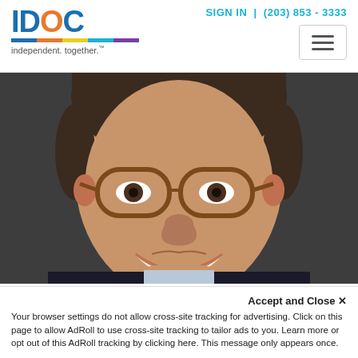SIGN IN | (203) 853 - 3333
[Figure (logo): IDOC logo with colored stripe and tagline 'independent. together.']
[Figure (photo): Professional headshot of a smiling middle-aged man with brown hair and tortoise-shell glasses, wearing a dark suit and light blue shirt, against a dark gray background.]
Accept and Close ✕
Your browser settings do not allow cross-site tracking for advertising. Click on this page to allow AdRoll to use cross-site tracking to tailor ads to you. Learn more or opt out of this AdRoll tracking by clicking here. This message only appears once.